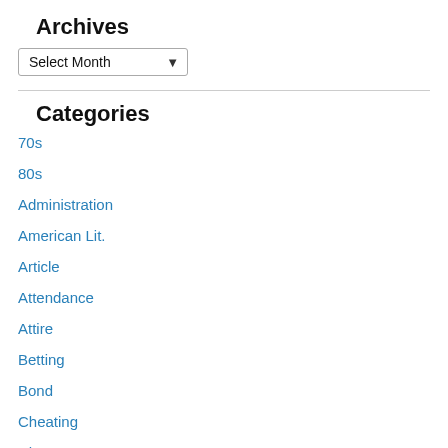Archives
Select Month
Categories
70s
80s
Administration
American Lit.
Article
Attendance
Attire
Betting
Bond
Cheating
Cheer
Class Size
Colleagues
Conferences